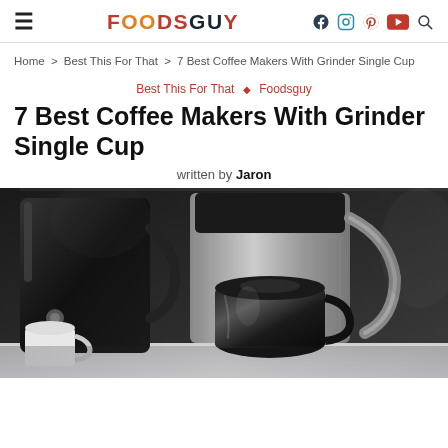FOODSGUY — navigation header with hamburger menu, logo, and social icons (Facebook, Instagram, Pinterest, YouTube, Search)
Home > Best This For That > 7 Best Coffee Makers With Grinder Single Cup
Best This For That ◇ Foodsguy
7 Best Coffee Makers With Grinder Single Cup
written by Jaron
[Figure (photo): Close-up photo of black coffee makers (Russell Hobbs brand visible) with stainless steel and black plastic bodies, showing a carafe at the bottom. Scene is dark and moody.]